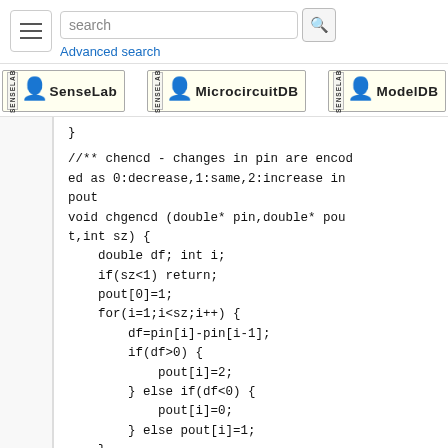[Figure (screenshot): Navigation bar with hamburger menu, search box, and Advanced search link]
[Figure (logo): Three database logos: SenseLab, MicrocircuitDB, ModelDB]
j
//** chencd - changes in pin are encoded as 0:decrease,1:same,2:increase in pout
void chgencd (double* pin,double* pout,int sz) {
    double df; int i;
    if(sz<1) return;
    pout[0]=1;
    for(i=1;i<sz;i++) {
        df=pin[i]-pin[i-1];
        if(df>0) {
            pout[i]=2;
        } else if(df<0) {
            pout[i]=0;
        } else pout[i]=1;
    }
}